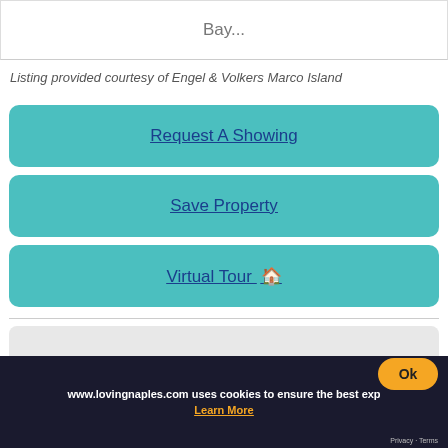Bay...
Listing provided courtesy of Engel & Volkers Marco Island
Request A Showing
Save Property
Virtual Tour 🏠
Information deemed reliable but not guaranteed.
Information provided is for consumers' personal, non-commercial use and may not be used for any purpose other than to identify prospective properties consumers may be interested in purchasing.
FLNMLS is current as of 8/29/2022.
www.lovingnaples.com uses cookies to ensure the best exp
Learn More
Ok